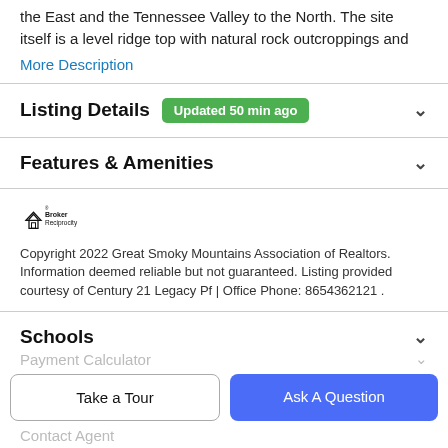the East and the Tennessee Valley to the North. The site itself is a level ridge top with natural rock outcroppings and
More Description
Listing Details  Updated 50 min ago
Features & Amenities
[Figure (logo): Broker Reciprocity logo with house icon]
Copyright 2022 Great Smoky Mountains Association of Realtors. Information deemed reliable but not guaranteed. Listing provided courtesy of Century 21 Legacy Pf | Office Phone: 8654362121 .
Schools
Payment Calculator
Take a Tour
Ask A Question
Contact Agent